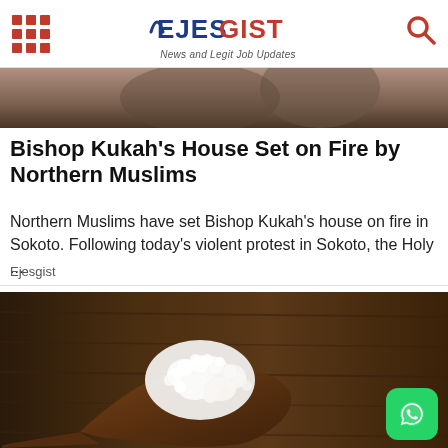EJESGIST - News and Legit Job Updates
[Figure (photo): Partial top image strip showing blurred background scene]
Bishop Kukah's House Set on Fire by Northern Muslims
Northern Muslims have set Bishop Kukah's house on fire in Sokoto. Following today's violent protest in Sokoto, the Holy ...
Ejesgist
[Figure (photo): Close-up photograph of white kefir grains on a wooden spoon against a dark wooden background]